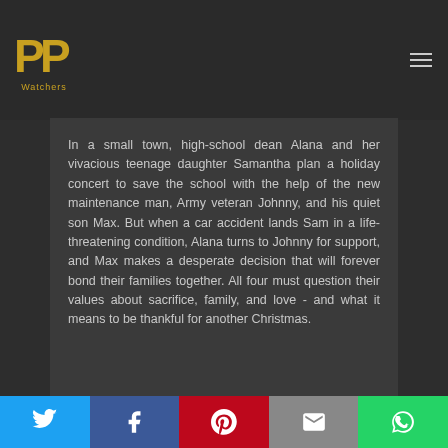[Figure (logo): PP Watchers logo — two stylized yellow P letters and 'Watchers' text below]
In a small town, high-school dean Alana and her vivacious teenage daughter Samantha plan a holiday concert to save the school with the help of the new maintenance man, Army veteran Johnny, and his quiet son Max. But when a car accident lands Sam in a life-threatening condition, Alana turns to Johnny for support, and Max makes a desperate decision that will forever bond their families together. All four must question their values about sacrifice, family, and love - and what it means to be thankful for another Christmas.
[Figure (infographic): Social share bar with Twitter, Facebook, Pinterest, Email, and WhatsApp buttons]